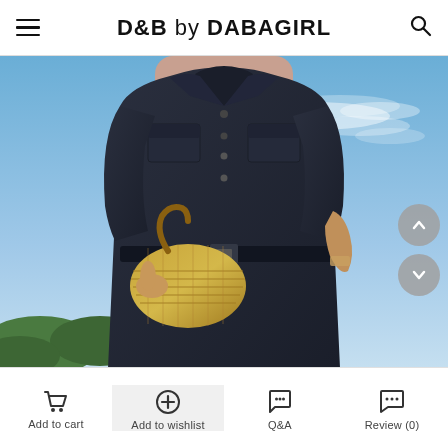D&B by DABAGIRL
[Figure (photo): Fashion model wearing a dark navy short-sleeve belted shirt dress with chest pockets, holding a woven gold clutch bag, photographed outdoors against a blue sky background.]
Add to cart | Add to wishlist | Q&A | Review (0)